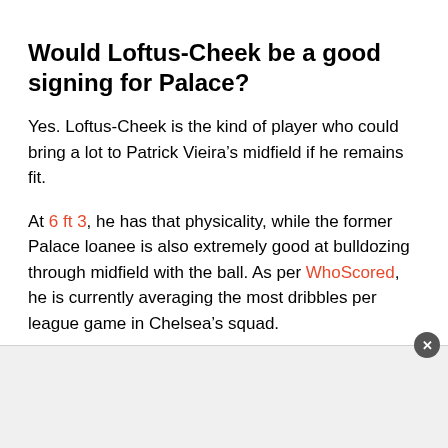Would Loftus-Cheek be a good signing for Palace?
Yes. Loftus-Cheek is the kind of player who could bring a lot to Patrick Vieira’s midfield if he remains fit.
At 6 ft 3, he has that physicality, while the former Palace loanee is also extremely good at bulldozing through midfield with the ball. As per WhoScored, he is currently averaging the most dribbles per league game in Chelsea’s squad.